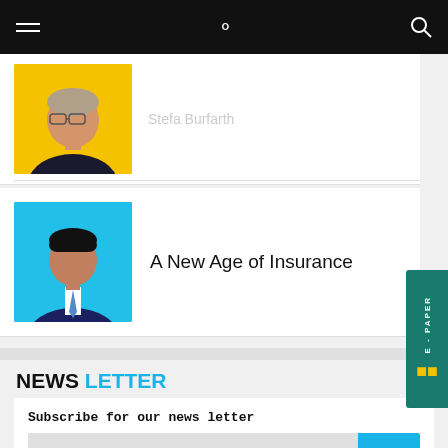Navigation bar with hamburger menu and search icon
[Figure (photo): Woman with glasses on yellow background, photo cropped/partially visible at top]
Stefa Burfarth (partially visible, truncated title)
[Figure (photo): Man in dark suit and tie on blue background]
A New Age of Insurance
NEWS LETTER
Subscribe for our news letter